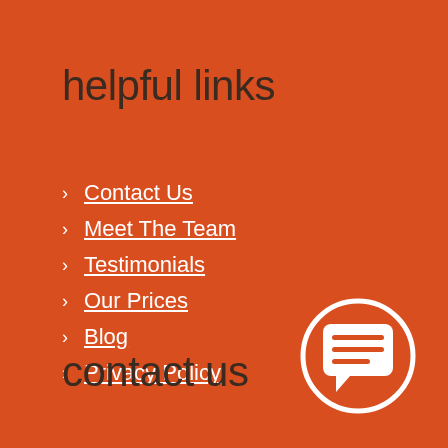helpful links
Contact Us
Meet The Team
Testimonials
Our Prices
Blog
Privacy Policy
contact us
[Figure (illustration): White speech bubble / chat icon inside a white circle outline on an orange background]